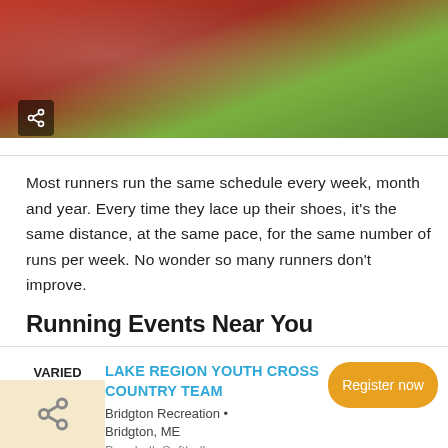[Figure (photo): Photo of a runner on a red track with green grass in background, with a share icon overlay in bottom-left corner of photo]
Most runners run the same schedule every week, month and year. Every time they lace up their shoes, it's the same distance, at the same pace, for the same number of runs per week. No wonder so many runners don't improve.
Running Events Near You
VARIED DATES
LAKE REGION YOUTH CROSS COUNTRY TEAM
Bridgton Recreation • Bridgton, ME
Baseball, Softball